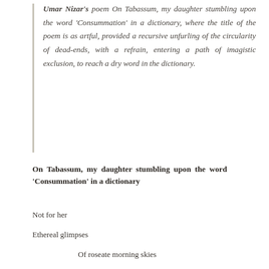Umar Nizar's poem On Tabassum, my daughter stumbling upon the word 'Consummation' in a dictionary, where the title of the poem is as artful, provided a recursive unfurling of the circularity of dead-ends, with a refrain, entering a path of imagistic exclusion, to reach a dry word in the dictionary.
On Tabassum, my daughter stumbling upon the word 'Consummation' in a dictionary
Not for her
Ethereal glimpses
Of roseate morning skies